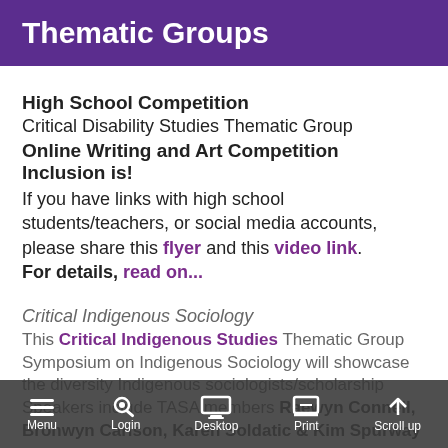Thematic Groups
High School Competition
Critical Disability Studies Thematic Group
Online Writing and Art Competition Inclusion is!
If you have links with high school students/teachers, or social media accounts, please share this flyer and this video link. For details, read on...
Critical Indigenous Sociology
This Critical Indigenous Studies Thematic Group Symposium on Indigenous Sociology will showcase the diversity Indigenous sociologists/scholarship Speakers include TASA members Raewyn Connell, Bronwyn Carlson, Karen Soldatic & Kim Spurway
Due to lockdown this event has been postponed to Monday 27 September...